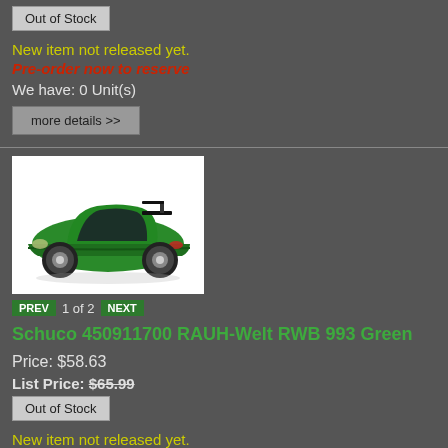Out of Stock
New item not released yet.
Pre-order now to reserve
We have: 0 Unit(s)
more details >>
[Figure (photo): Green Porsche RWB sports car model (Schuco 450911700 RAUH-Welt RWB 993 Green)]
PREV  1 of 2  NEXT
Schuco 450911700 RAUH-Welt RWB 993 Green
Price: $58.63
List Price: $65.99
Out of Stock
New item not released yet.
Pre-order now to reserve
We have: 0 Unit(s)